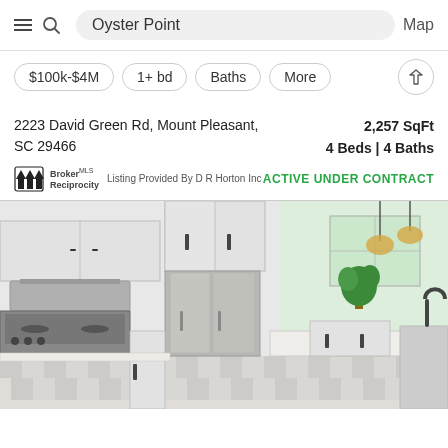Oyster Point | Map
$100k-$4M | 1+ bd | Baths | More
2223 David Green Rd, Mount Pleasant, SC 29466
2,257 SqFt
4 Beds | 4 Baths
Listing Provided By D R Horton Inc | ACTIVE UNDER CONTRACT
[Figure (photo): Interior kitchen photo showing white cabinets, stainless steel appliances (range, refrigerator), pendant lights, patterned tile floor, and a kitchen island with sink]